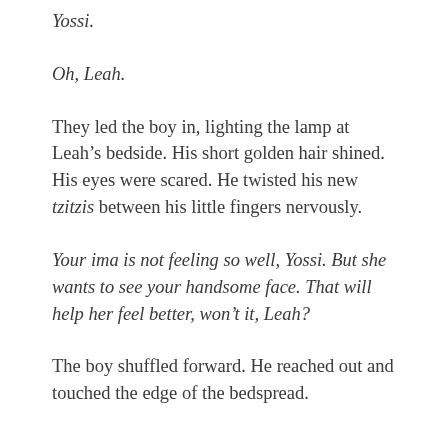Yossi.
Oh, Leah.
They led the boy in, lighting the lamp at Leah’s bedside. His short golden hair shined. His eyes were scared. He twisted his new tzitzis between his little fingers nervously.
Your ima is not feeling so well, Yossi. But she wants to see your handsome face. That will help her feel better, won’t it, Leah?
The boy shuffled forward. He reached out and touched the edge of the bedspread.